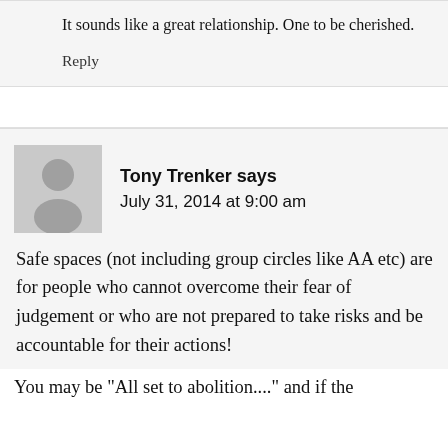It sounds like a great relationship. One to be cherished.
Reply
Tony Trenker says
July 31, 2014 at 9:00 am
Safe spaces (not including group circles like AA etc) are for people who cannot overcome their fear of judgement or who are not prepared to take risks and be accountable for their actions!
You may be "All set to abolition...." and if the